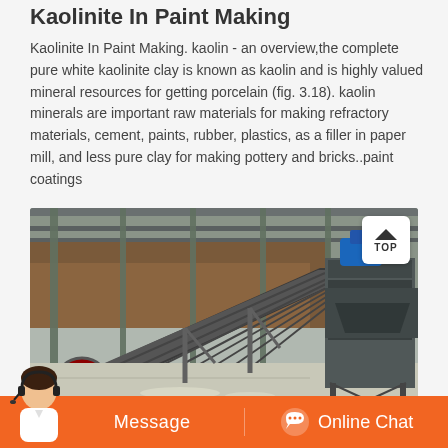Kaolinite In Paint Making
Kaolinite In Paint Making. kaolin - an overview,the complete pure white kaolinite clay is known as kaolin and is highly valued mineral resources for getting porcelain (fig. 3.18). kaolin minerals are important raw materials for making refractory materials, cement, paints, rubber, plastics, as a filler in paper mill, and less pure clay for making pottery and bricks..paint coatings
[Figure (photo): Industrial conveyor belt machinery and mining equipment inside a facility, with metal framework, conveyor belts, and processing equipment visible.]
Message   Online Chat